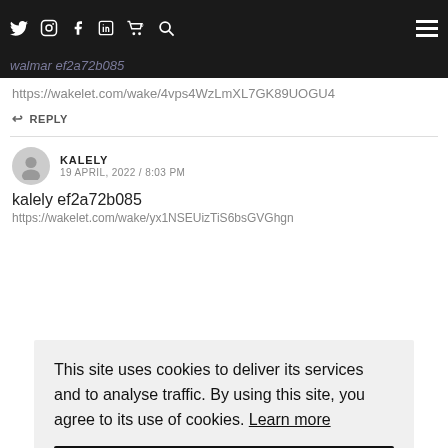walmar ef2a72b085 [navigation bar with social icons]
https://wakelet.com/wake/4vps4WzLmXL7GK89UOGU4
↩ REPLY
KALELY
19 APRIL, 2022 / 8:03 PM
kalely ef2a72b085
https://wakelet.com/wake/yx1NSEUizTiS6bsGVGhgn
This site uses cookies to deliver its services and to analyse traffic. By using this site, you agree to its use of cookies. Learn more
OK